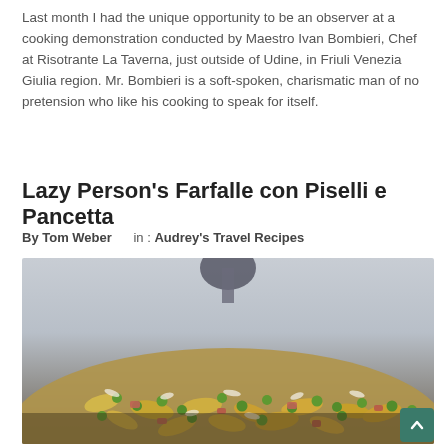Last month I had the unique opportunity to be an observer at a cooking demonstration conducted by Maestro Ivan Bombieri, Chef at Risotrante La Taverna, just outside of Udine, in Friuli Venezia Giulia region. Mr. Bombieri is a soft-spoken, charismatic man of no pretension who like his cooking to speak for itself.
Lazy Person's Farfalle con Piselli e Pancetta
By Tom Weber    in : Audrey's Travel Recipes
[Figure (photo): Close-up photo of farfalle pasta with peas and pancetta, with a wine glass visible in the background]